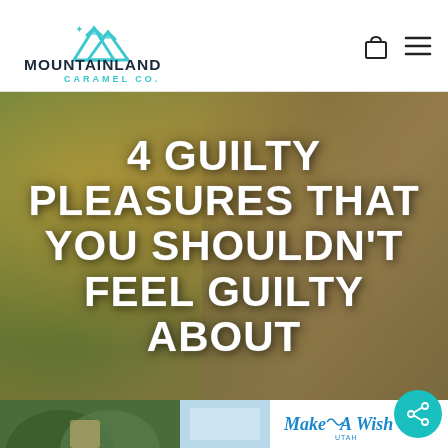Mountainland Caramel Co.
[Figure (photo): Hero image of a blond woman with a white hat outdoors with green and golden bokeh background, with overlaid text reading '4 GUILTY PLEASURES THAT YOU SHOULDN'T FEEL GUILTY ABOUT']
4 GUILTY PLEASURES THAT YOU SHOULDN'T FEEL GUILTY ABOUT
[Figure (logo): Make-A-Wish logo at bottom right area]
[Figure (other): Share/social button (teal circle with share icon)]